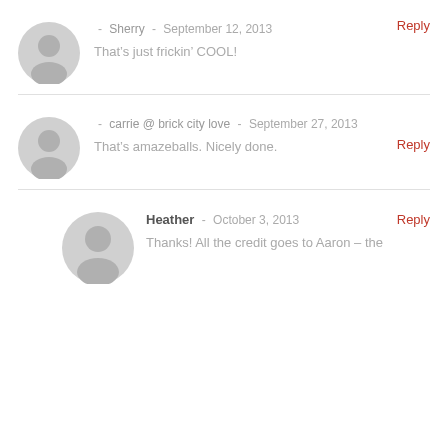- Sherry - September 12, 2013 | Reply
That's just frickin' COOL!
- carrie @ brick city love - September 27, 2013 | Reply
That's amazeballs. Nicely done.
Heather - October 3, 2013 | Reply
Thanks! All the credit goes to Aaron – the